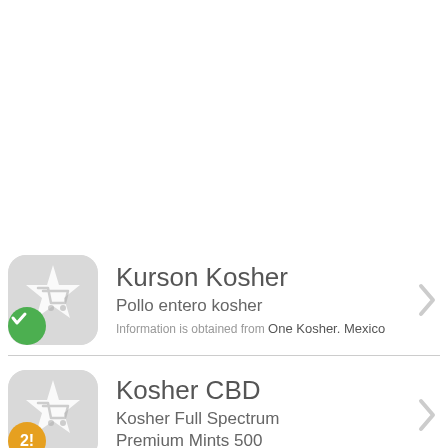[Figure (illustration): Product listing item: Kurson Kosher with kosher icon (star/cart graphic on gray rounded rectangle with green checkmark badge), title 'Kurson Kosher', subtitle 'Pollo entero kosher', info 'Information is obtained from One Kosher. Mexico', and right arrow chevron.]
[Figure (illustration): Product listing item: Kosher CBD with kosher icon (star/cart graphic on gray rounded rectangle with orange badge showing '2!'), title 'Kosher CBD', subtitle 'Kosher Full Spectrum Premium Mints 500', and right arrow chevron.]